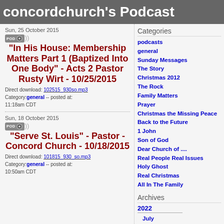concordchurch's Podcast
Sun, 25 October 2015
"In His House: Membership Matters Part 1 (Baptized Into One Body" - Acts 2 Pastor Rusty Wirt - 10/25/2015
Direct download: 102515_930so.mp3
Category: general -- posted at: 11:18am CDT
Sun, 18 October 2015
"Serve St. Louis" - Pastor - Concord Church - 10/18/2015
Direct download: 101815_930_so.mp3
Category: general -- posted at: 10:50am CDT
Categories
podcasts
general
Sunday Messages
The Story
Christmas 2012
The Rock
Family Matters
Prayer
Christmas the Missing Peace
Back to the Future
1 John
Son of God
Dear Church of ....
Real People Real Issues
Holy Ghost
Real Christmas
All In The Family
Archives
2022
July
June
May
April
March
February
January
2021